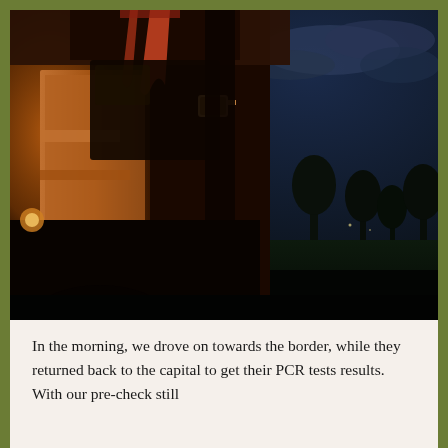[Figure (photo): Nighttime photograph taken from inside or beside a vehicle (appears to be an old bus or truck with wooden interior). The vehicle interior is illuminated with warm orange/amber light, showing hanging fabric or clothing, a wooden dashboard, and side mirror. The exterior background shows a dark night sky with some clouds and silhouetted trees.]
In the morning, we drove on towards the border, while they returned back to the capital to get their PCR tests results. With our pre-check still